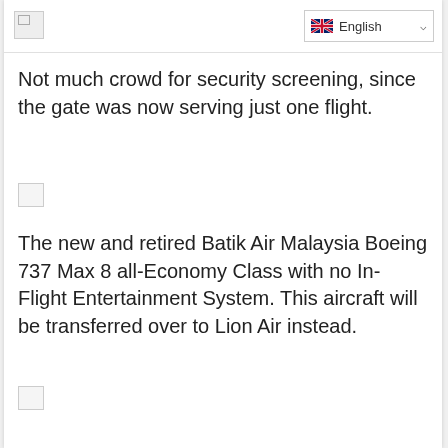[Figure (screenshot): Broken image placeholder icon in top-left]
[Figure (screenshot): Language selector dropdown showing UK flag and 'English' with chevron]
Not much crowd for security screening, since the gate was now serving just one flight.
[Figure (photo): Broken image placeholder icon]
The new and retired Batik Air Malaysia Boeing 737 Max 8 all-Economy Class with no In-Flight Entertainment System. This aircraft will be transferred over to Lion Air instead.
[Figure (photo): Broken image placeholder icon]
Poor 747s, even with the found owner, it still looks as if abandoned.